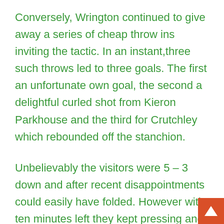Conversely, Wrington continued to give away a series of cheap throw ins inviting the tactic. In an instant,three such throws led to three goals. The first an unfortunate own goal, the second a delightful curled shot from Kieron Parkhouse and the third for Crutchley which rebounded off the stanchion.
Unbelievably the visitors were 5 – 3 down and after recent disappointments could easily have folded. However with ten minutes left they kept pressing and sub Dean Rix stiffened the defence with some meaty clearances. Finally, Nick Tu...